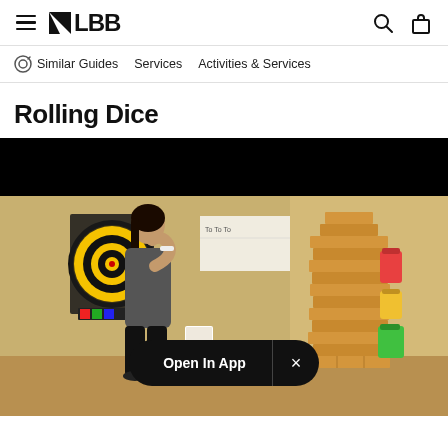LBB - Similar Guides | Services | Activities & Services
Rolling Dice
[Figure (photo): A woman stands beside a large Jenga tower in a game room. A dartboard with yellow and black concentric circles hangs on the wall behind her. She appears to be contemplating her next move. An 'Open In App' button with a close (×) control overlays the lower center of the image.]